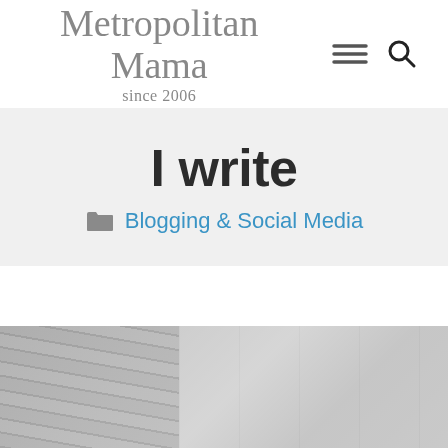Metropolitan Mama since 2006
I write
Blogging & Social Media
[Figure (photo): Black and white photo of a laptop keyboard and desk surface, partially visible at the bottom of the page]